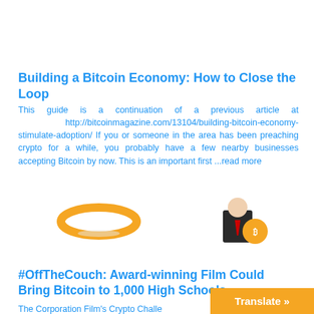Building a Bitcoin Economy: How to Close the Loop
This guide is a continuation of a previous article at http://bitcoinmagazine.com/13104/building-bitcoin-economy-stimulate-adoption/ If you or someone in the area has been preaching crypto for a while, you probably have a few nearby businesses accepting Bitcoin by now. This is an important first ...read more
[Figure (illustration): Two small thumbnail images: a golden halo ring on the left and an anonymous/Guy Fawkes masked figure with a Bitcoin coin on the right]
#OffTheCouch: Award-winning Film Could Bring Bitcoin to 1,000 High Schools
The Corporation Film's Crypto Challe